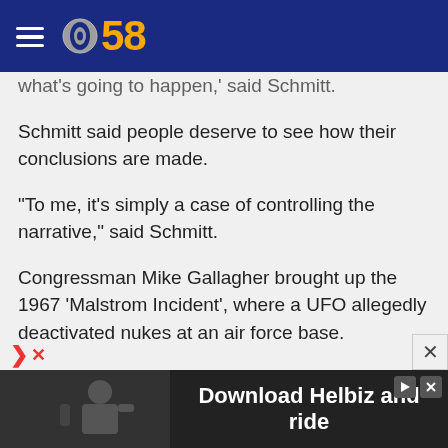CBS 58
What's going to happen,' said Schmitt.
Schmitt said people deserve to see how their conclusions are made.
"To me, it's simply a case of controlling the narrative," said Schmitt.
Congressman Mike Gallagher brought up the 1967 'Malstrom Incident', where a UFO allegedly deactivated nukes at an air force base.
"I'm not commenting on the accuracy of this, I'm simply asking you whether you're aware of it," asked Rep. Gallager.
[Figure (screenshot): Advertisement banner at bottom: 'Download Helbiz and ride' with dark background and person holding device image]